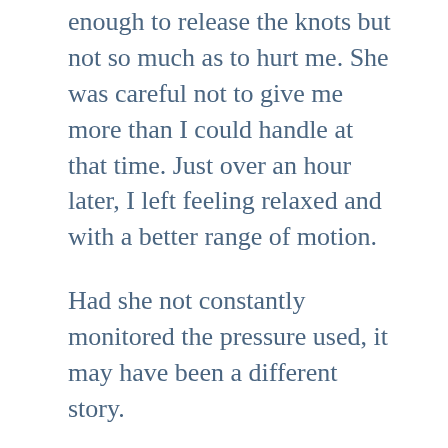enough to release the knots but not so much as to hurt me. She was careful not to give me more than I could handle at that time. Just over an hour later, I left feeling relaxed and with a better range of motion.
Had she not constantly monitored the pressure used, it may have been a different story.
The next morning, God reminded me that he constantly monitors the level of pressure in my life. He gives me enough to strengthen me but not enough to break me. At times it may seem like more than I can handle. That is because it’s been too long since I’ve spent time with Him. Jesus said, “Come to me, all who are tired from carrying heavy loads, and I will give you rest.”